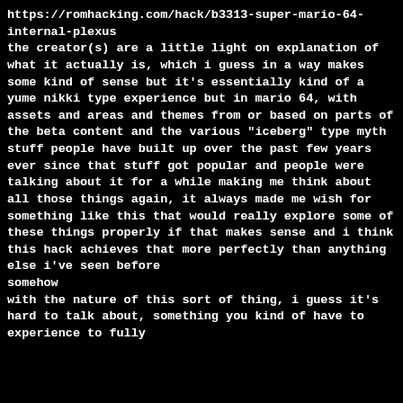https://romhacking.com/hack/b3313-super-mario-64-internal-plexus
the creator(s) are a little light on explanation of what it actually is, which i guess in a way makes some kind of sense but it's essentially kind of a yume nikki type experience but in mario 64, with assets and areas and themes from or based on parts of the beta content and the various "iceberg" type myth stuff people have built up over the past few years ever since that stuff got popular and people were talking about it for a while making me think about all those things again, it always made me wish for something like this that would really explore some of these things properly if that makes sense and i think this hack achieves that more perfectly than anything else i've seen before
somehow
with the nature of this sort of thing, i guess it's hard to talk about, something you kind of have to experience to fully